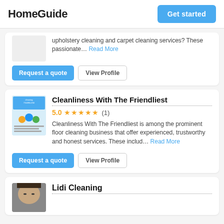HomeGuide | Get started
upholstery cleaning and carpet cleaning services? These passionate... Read More
Request a quote | View Profile
Cleanliness With The Friendliest
5.0 ★★★★★ (1)
Cleanliness With The Friendliest is among the prominent floor cleaning business that offer experienced, trustworthy and honest services. These includ... Read More
Request a quote | View Profile
Lidi Cleaning